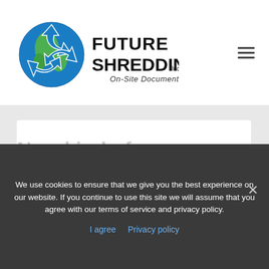[Figure (logo): Future Shredding Inc. logo — globe with recycling arrows and company name with tagline On-Site Document Destruction]
New kind of identity theft you haven't heard of.
We use cookies to ensure that we give you the best experience on our website. If you continue to use this site we will assume that you agree with our terms of service and privacy policy.
I agree  Privacy policy